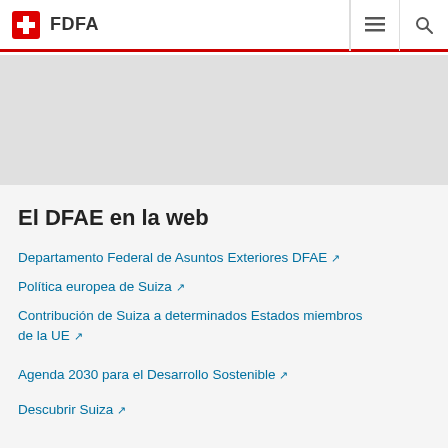FDFA
[Figure (photo): Gray banner image area at top of page]
El DFAE en la web
Departamento Federal de Asuntos Exteriores DFAE
Política europea de Suiza
Contribución de Suiza a determinados Estados miembros de la UE
Agenda 2030 para el Desarrollo Sostenible
Descubrir Suiza